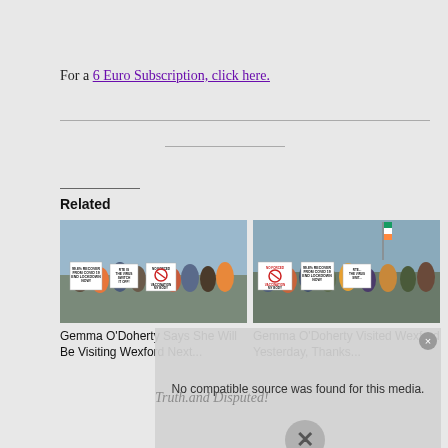For a 6 Euro Subscription, click here.
[Figure (photo): Left photo: protest crowd at beach with Irish tricolor flags and signs reading '99.8% Recover from Covid 19 End Lockdown Now!', 'RTE is the Virus Switch it Off!', 'No Forced Vaccination My Body My Choice']
[Figure (photo): Right photo: protest crowd at beach with Irish tricolor flag and similar signs including 'No Forced Vaccination My Body', '99.8% Recover from Covid 19 End Lockdown Now!', 'RTE...']
Related
Gemma O'Doherty Says She Will Be Visiting Wexford Next...
Gemma O'Doherty Visited Wexford Yesterday, Thanks...
No compatible source was found for this media.
Truth.and Disputed!